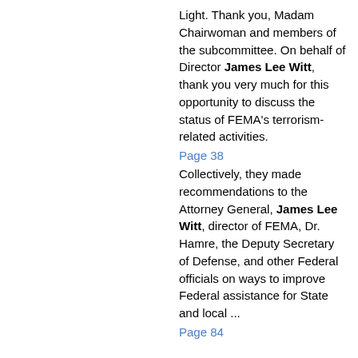Light. Thank you, Madam Chairwoman and members of the subcommittee. On behalf of Director James Lee Witt, thank you very much for this opportunity to discuss the status of FEMA's terrorism-related activities.
Page 38
Collectively, they made recommendations to the Attorney General, James Lee Witt, director of FEMA, Dr. Hamre, the Deputy Secretary of Defense, and other Federal officials on ways to improve Federal assistance for State and local ...
Page 84